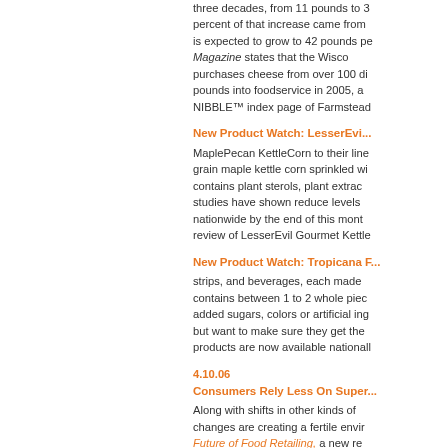three decades, from 11 pounds to 3... percent of that increase came from... is expected to grow to 42 pounds pe... Magazine states that the Wisco... purchases cheese from over 100 di... pounds into foodservice in 2005, a... NIBBLE™ index page of Farmstead...
New Product Watch: LesserEvi...
MaplePecan KettleCorn to their line... grain maple kettle corn sprinkled wi... contains plant sterols, plant extrac... studies have shown reduce levels... nationwide by the end of this mont... review of LesserEvil Gourmet Kettle...
New Product Watch: Tropicana P...
strips, and beverages, each made... contains between 1 to 2 whole piec... added sugars, colors or artificial ing... but want to make sure they get the... products are now available nationall...
4.10.06
Consumers Rely Less On Super...
Along with shifts in other kinds of... changes are creating a fertile envir... Future of Food Retailing, a new re... that supermarkets continue to see...